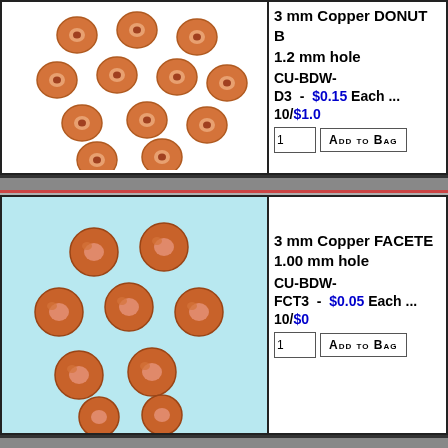[Figure (photo): Photo of copper donut beads on white background, showing approximately 12 small round copper-colored beads with donut/ring shape]
3 mm Copper DONUT B... 1.2 mm hole CU-BDW- D3 - $0.15 Each ... 10/$1.0...
[Figure (photo): Photo of copper faceted beads on light blue background, showing approximately 12 round copper-colored faceted beads]
3 mm Copper FACETE... 1.00 mm hole CU-BDW- FCT3 - $0.05 Each ... 10/$0...